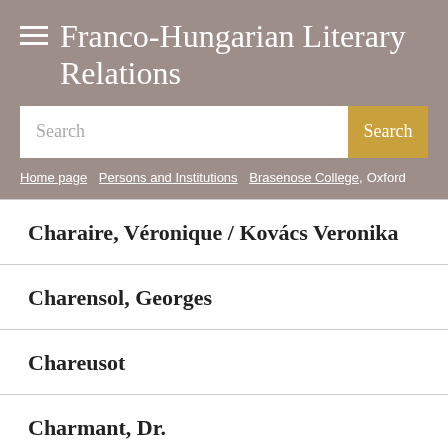Franco-Hungarian Literary Relations
Search
Home page / Persons and Institutions / Brasenose College, Oxford
Charaire, Véronique / Kovács Veronika
Charensol, Georges
Chareusot
Charmant, Dr.